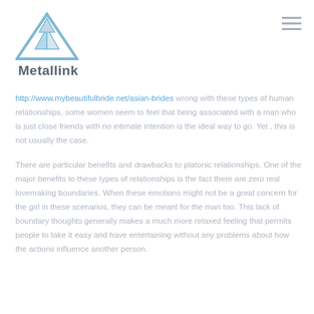[Figure (logo): Metallink logo with triangular blue geometric icon above the word Metallink in bold gray]
http://www.mybeautifulbride.net/asian-brides wrong with these types of human relationships, some women seem to feel that being associated with a man who is just close friends with no intimate intention is the ideal way to go. Yet , this is not usually the case.
There are particular benefits and drawbacks to platonic relationships. One of the major benefits to these types of relationships is the fact there are zero real lovemaking boundaries. When these emotions might not be a great concern for the girl in these scenarios, they can be meant for the man too. This lack of boundary thoughts generally makes a much more relaxed feeling that permits people to take it easy and have entertaining without any problems about how the actions influence another person.